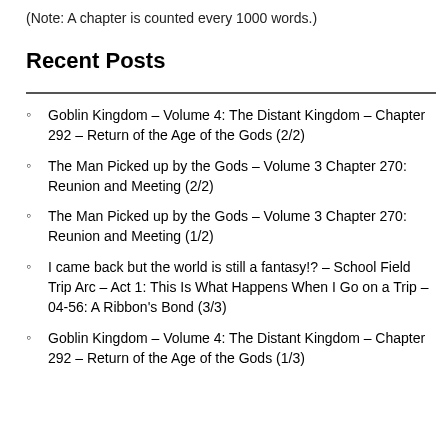(Note: A chapter is counted every 1000 words.)
Recent Posts
Goblin Kingdom – Volume 4: The Distant Kingdom – Chapter 292 – Return of the Age of the Gods (2/2)
The Man Picked up by the Gods – Volume 3 Chapter 270: Reunion and Meeting (2/2)
The Man Picked up by the Gods – Volume 3 Chapter 270: Reunion and Meeting (1/2)
I came back but the world is still a fantasy!? – School Field Trip Arc – Act 1: This Is What Happens When I Go on a Trip – 04-56: A Ribbon's Bond (3/3)
Goblin Kingdom – Volume 4: The Distant Kingdom – Chapter 292 – Return of the Age of the Gods (1/3)